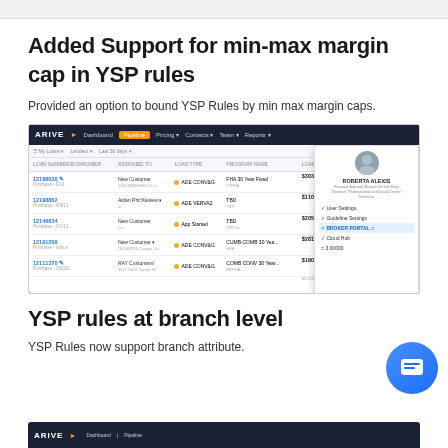Added Support for min-max margin cap in YSP rules
Provided an option to bound YSP Rules by min max margin caps.
[Figure (screenshot): ARIVE platform screenshot showing a loans table with columns for loan ID, customer, loan type, interest rate, amount, and status. A user profile popup is visible on the right side.]
YSP rules at branch level
YSP Rules now support branch attribute.
[Figure (screenshot): Bottom partial screenshot of ARIVE platform navigation bar]